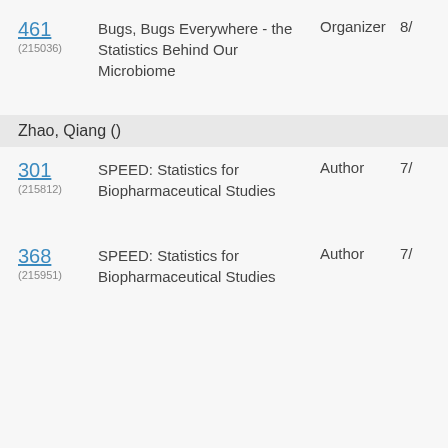461 (215036) Bugs, Bugs Everywhere - the Statistics Behind Our Microbiome Organizer 8/
Zhao, Qiang ()
301 (215812) SPEED: Statistics for Biopharmaceutical Studies Author 7/
368 (215951) SPEED: Statistics for Biopharmaceutical Studies Author 7/